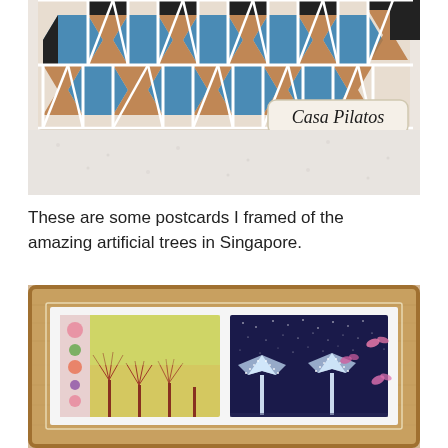[Figure (photo): Close-up photo of a colorful ceramic tile magnet or decoration labeled 'Casa Pilatos', featuring geometric Moorish patterns in blue, orange/brown, black, and white. The item sits against a white textured wall.]
These are some postcards I framed of the amazing artificial trees in Singapore.
[Figure (photo): Photo of a wooden picture frame (light oak wood) containing two postcards side by side. The left postcard shows colorful illustrated trees (Singapore's Supertrees/Gardens by the Bay) against a yellow/floral background. The right postcard shows glowing white Supertree structures against a dark navy night sky with stars, pink birds/butterflies flying around them. Both postcards are matted in white inside the frame.]